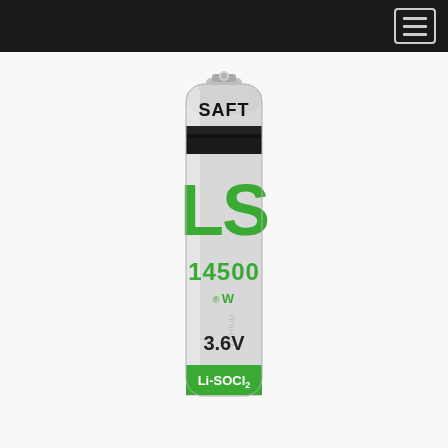[Figure (photo): Photo of a Saft LS 14500 lithium battery (Li-SOCl2 chemistry), AA size, 3.6V. The battery has a light grey cylindrical body with black 'SAFT' branding at the top, a dark horizontal stripe, large green 'LS' letters, green '14500' model number, a UL certification mark, '3.6V' in black text, and a green bottom band labeled 'Li-SOCl2'. The battery has a silver positive terminal cap at the top.]